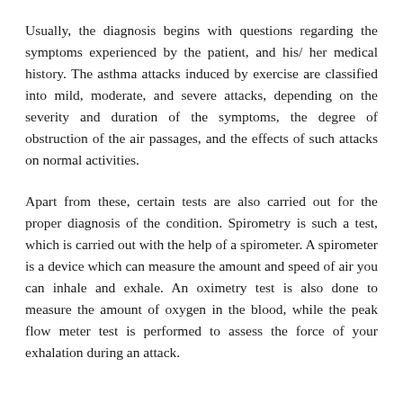Usually, the diagnosis begins with questions regarding the symptoms experienced by the patient, and his/ her medical history. The asthma attacks induced by exercise are classified into mild, moderate, and severe attacks, depending on the severity and duration of the symptoms, the degree of obstruction of the air passages, and the effects of such attacks on normal activities.
Apart from these, certain tests are also carried out for the proper diagnosis of the condition. Spirometry is such a test, which is carried out with the help of a spirometer. A spirometer is a device which can measure the amount and speed of air you can inhale and exhale. An oximetry test is also done to measure the amount of oxygen in the blood, while the peak flow meter test is performed to assess the force of your exhalation during an attack.